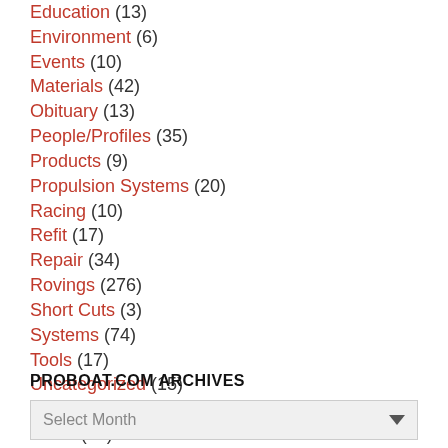Education (13)
Environment (6)
Events (10)
Materials (42)
Obituary (13)
People/Profiles (35)
Products (9)
Propulsion Systems (20)
Racing (10)
Refit (17)
Repair (34)
Rovings (276)
Short Cuts (3)
Systems (74)
Tools (17)
Uncategorized (15)
Wood to Glass (7)
Yards (34)
PROBOAT.COM ARCHIVES